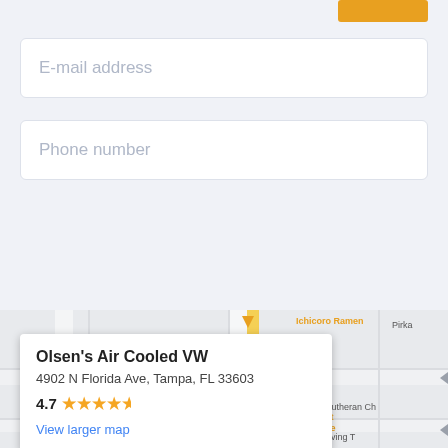E-mail address
Phone number
[Figure (screenshot): Google Maps showing location of Olsen's Air Cooled VW at 4902 N Florida Ave, Tampa, FL 33603 with nearby streets including E Frierson Ave, E Wilder Ave, and businesses like Ichicoro Ramen, Independent Bar and Cafe]
Olsen's Air Cooled VW
4902 N Florida Ave, Tampa, FL 33603
4.7 ★★★★★
View larger map